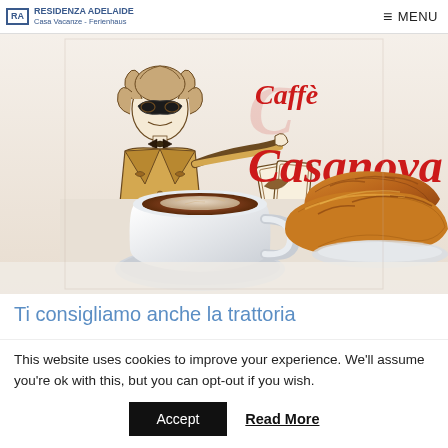RA RESIDENZA ADELAIDE Casa Vacanze - Ferienhaus | MENU
[Figure (illustration): Caffè Casanova banner image showing a Venetian masked figure illustration in brown ink holding cards, alongside the red cursive 'Caffè Casanova' logo text, with a photograph of a cappuccino cup and croissants on a white background.]
Ti consigliamo anche la trattoria
This website uses cookies to improve your experience. We'll assume you're ok with this, but you can opt-out if you wish.
Accept   Read More